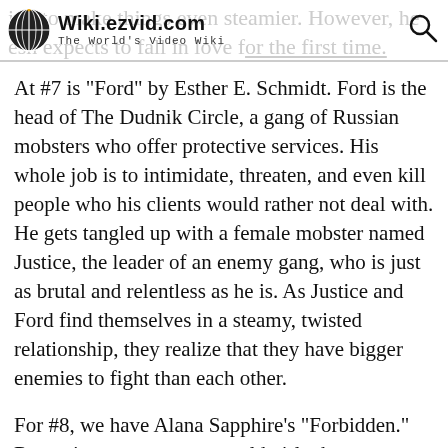Wiki.ezvid.com — The World's Video Wiki
At #7 is "Ford" by Esther E. Schmidt. Ford is the head of The Dudnik Circle, a gang of Russian mobsters who offer protective services. His whole job is to intimidate, threaten, and even kill people who his clients would rather not deal with. He gets tangled up with a female mobster named Justice, the leader of an enemy gang, who is just as brutal and relentless as he is. As Justice and Ford find themselves in a steamy, twisted relationship, they realize that they have bigger enemies to fight than each other.
For #8, we have Alana Sapphire's "Forbidden." Raven is a seventeen-year-old girl who wants to live a normal life. Things become complicated when she catches the